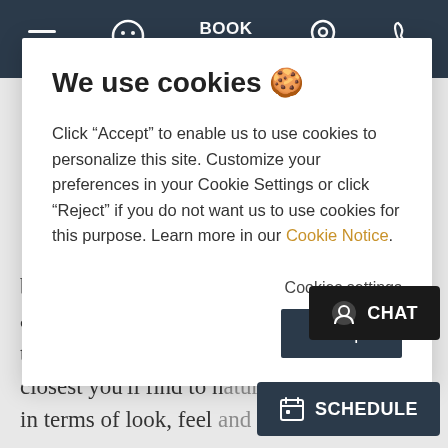BOOK NOW (navigation bar with hamburger menu, smiley icon, BOOK NOW, location pin, phone icons)
We use cookies 🍪
Click "Accept" to enable us to use cookies to personalize this site. Customize your preferences in your Cookie Settings or click "Reject" if you do not want us to use cookies for this purpose. Learn more in our Cookie Notice.
Cookies settings
Accept
be removed by the dentist but are brushed and cleaned like natural teeth. Our All-On-X process is the closest you'll find to natural teeth in terms of look, feel and function.
CHAT
SCHEDULE